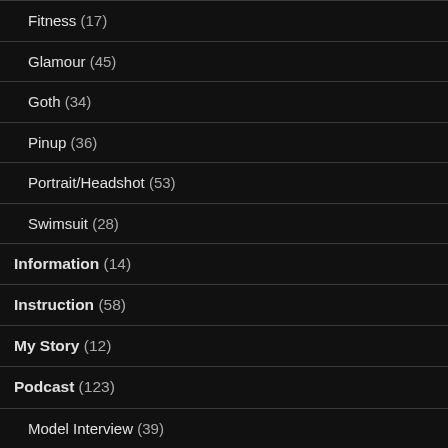Fitness (17)
Glamour (45)
Goth (34)
Pinup (36)
Portrait/Headshot (53)
Swimsuit (28)
Information (14)
Instruction (58)
My Story (12)
Podcast (123)
Model Interview (39)
Photographer Interview (53)